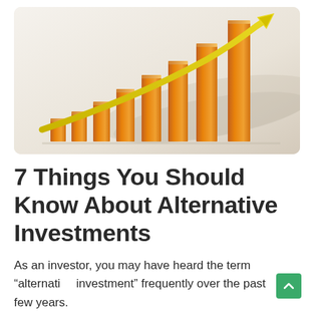[Figure (illustration): 3D bar chart illustration with amber/gold colored ascending bars and a golden upward-pointing arrow curve, on a light grey/beige gradient background, rounded rectangle crop]
7 Things You Should Know About Alternative Investments
As an investor, you may have heard the term “alternative investment” frequently over the past few years.